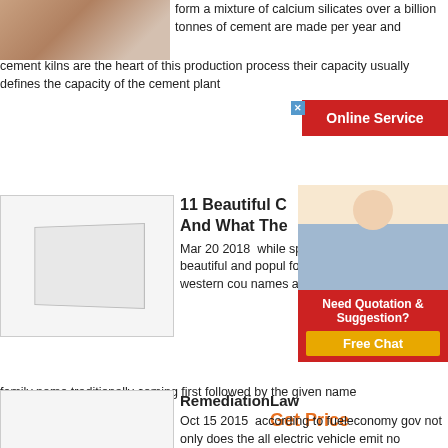[Figure (photo): Photo of bricks/cement material, top left corner]
form a mixture of calcium silicates over a billion tonnes of cement are made per year and cement kilns are the heart of this production process their capacity usually defines the capacity of the cement plant
[Figure (screenshot): Online Service advertisement banner in red with X close button]
[Figure (photo): White box/planter image for article 2]
11 Beautiful C And What The
Mar 20 2018  while special meaning he beautiful and popul found names in car to their western cou names are presente family name traditionally coming first followed by the given name
[Figure (photo): Customer service representative with headset, blonde woman, part of ad overlay]
Need Quotation & Suggestion?
Free Chat
Get Price
[Figure (photo): Rongsheng branded image with grey brick/block material]
RemediationLaw
Oct 15 2015  according to fueleconomy gov not only does the all electric vehicle emit no